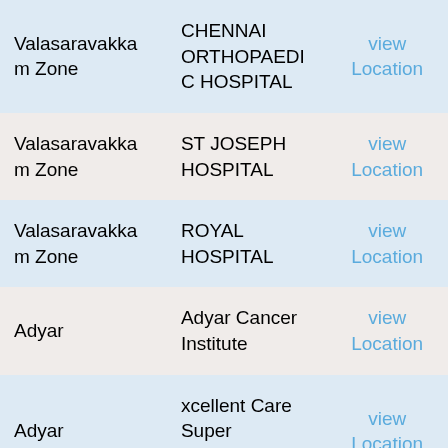| Zone | Hospital | Action |
| --- | --- | --- |
| Valasaravakkam Zone | CHENNAI ORTHOPAEDIC HOSPITAL | view Location |
| Valasaravakkam Zone | ST JOSEPH HOSPITAL | view Location |
| Valasaravakkam Zone | ROYAL HOSPITAL | view Location |
| Adyar | Adyar Cancer Institute | view Location |
| Adyar | xcellent Care Super Speciality Cho... | view Location |